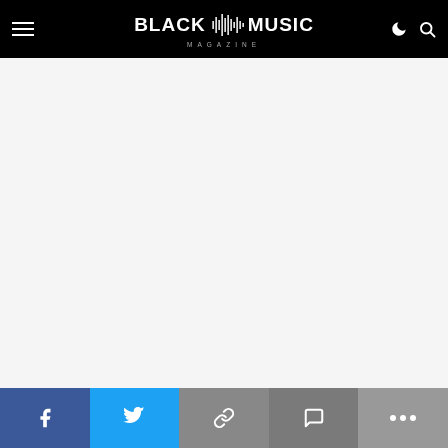BLACK MUSIC MAGAZINE
[Figure (screenshot): Empty white content area of Black Music Magazine website]
[Figure (infographic): Social share bar with Facebook, Twitter, Link, Comment, and More buttons]